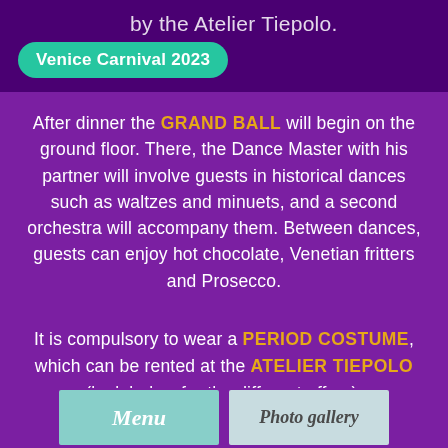by the Atelier Tiepolo.
Venice Carnival 2023
After dinner the GRAND BALL will begin on the ground floor. There, the Dance Master with his partner will involve guests in historical dances such as waltzes and minuets, and a second orchestra will accompany them. Between dances, guests can enjoy hot chocolate, Venetian fritters and Prosecco.
It is compulsory to wear a PERIOD COSTUME, which can be rented at the ATELIER TIEPOLO (look below for the different offers).
[Figure (other): Two navigation buttons: 'Menu' on a teal background and 'Photo gallery' on a light blue-grey background]